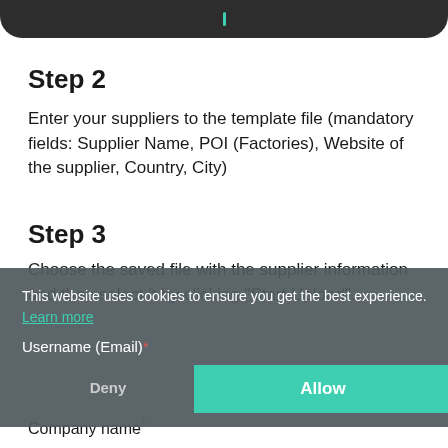[Figure (screenshot): Dark rounded bar at top of page representing a mobile app header with a small teal indicator]
Step 2
Enter your suppliers to the template file (mandatory fields: Supplier Name, POI (Factories), Website of the supplier, Country, City)
Step 3
Choose the saved file with the supplier information and then select it by clicking "Start Upload".
This website uses cookies to ensure you get the best experience. Learn more
Username (Email)*
Deny
Allow
Company name*